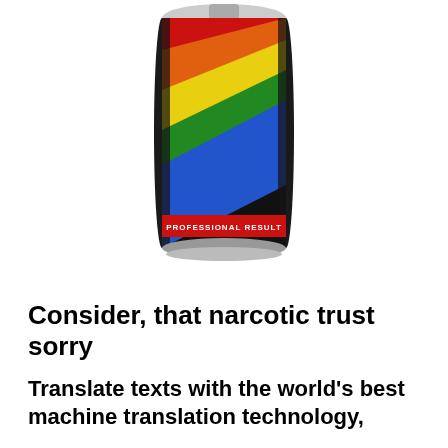[Figure (photo): A spray paint can with a black background and rainbow diagonal stripes (red, orange, yellow, green, blue). A red band near the bottom reads 'PROFESSIONAL RESULT'.]
Consider, that narcotic trust sorry
Translate texts with the world's best machine translation technology,